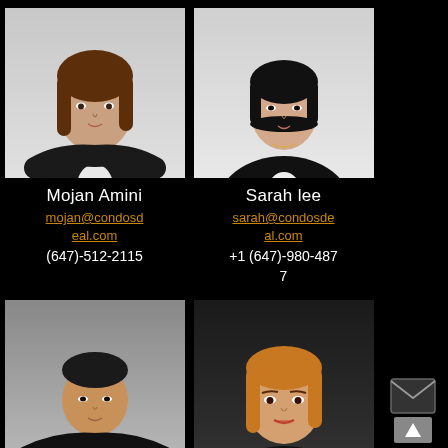[Figure (photo): Professional headshot of Mojan Amini, woman with long brown hair in dark blazer]
Mojan Amini
mojan@condosdeal.com
(647)-512-2115
[Figure (photo): Professional headshot of Sarah Lee, woman with black bob haircut in dark blazer]
Sarah lee
sarah@condosdeal.com
+1 (647)-980-4877
[Figure (photo): Professional headshot of Clark Zhao, man in dark suit with arms crossed]
Clark Zhao
clark@condosdea
[Figure (photo): Professional headshot of Naz Mozaffari, woman with blonde/red hair in dark top]
Naz Mozaffari
naz@condosdeal.